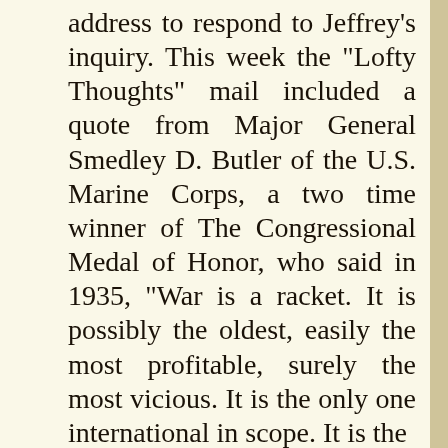address to respond to Jeffrey's inquiry. This week the “Lofty Thoughts” mail included a quote from Major General Smedley D. Butler of the U.S. Marine Corps, a two time winner of The Congressional Medal of Honor, who said in 1935, “War is a racket. It is possibly the oldest, easily the most profitable, surely the most vicious. It is the only one international in scope. It is the